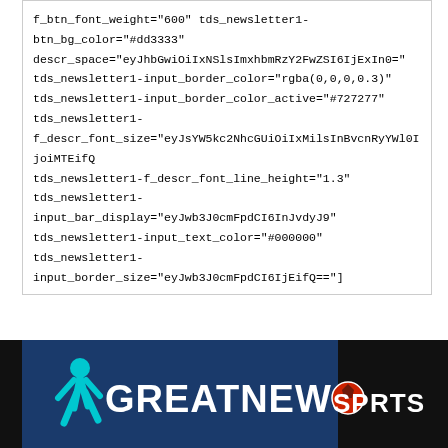f_btn_font_weight="600" tds_newsletter1-btn_bg_color="#dd3333" descr_space="eyJhbGwiOiIxNSlsImxhbmRzY2FwZSI6IjExIn0=" tds_newsletter1-input_border_color="rgba(0,0,0,0.3)" tds_newsletter1-input_border_color_active="#727277" tds_newsletter1-f_descr_font_size="eyJsYW5kc2NhcGUiOiIxMilsInBvcnRyYWl0IjoiMTEifQ==" tds_newsletter1-f_descr_font_line_height="1.3" tds_newsletter1-input_bar_display="eyJwb3J0cmFpdCI6InJvdyJ9" tds_newsletter1-input_text_color="#000000" tds_newsletter1-input_border_size="eyJwb3J0cmFpdCI6IjEifQ=="]
[Figure (logo): GREATNEWS SPORTS logo on dark footer bar with soccer ball icon]